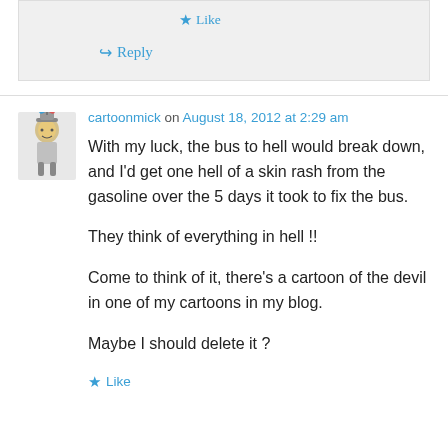Like
Reply
cartoonmick on August 18, 2012 at 2:29 am
With my luck, the bus to hell would break down, and I'd get one hell of a skin rash from the gasoline over the 5 days it took to fix the bus.

They think of everything in hell !!

Come to think of it, there's a cartoon of the devil in one of my cartoons in my blog.

Maybe I should delete it ?
Like